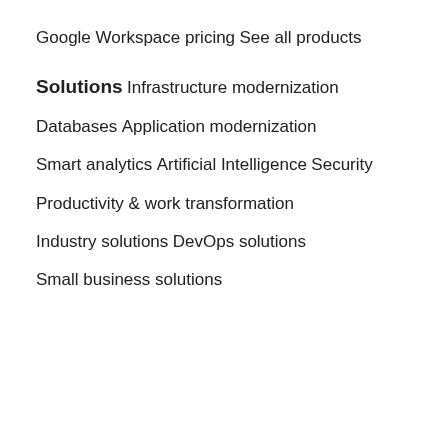Google Workspace pricing
See all products
Solutions
Infrastructure modernization
Databases
Application modernization
Smart analytics
Artificial Intelligence
Security
Productivity & work transformation
Industry solutions
DevOps solutions
Small business solutions